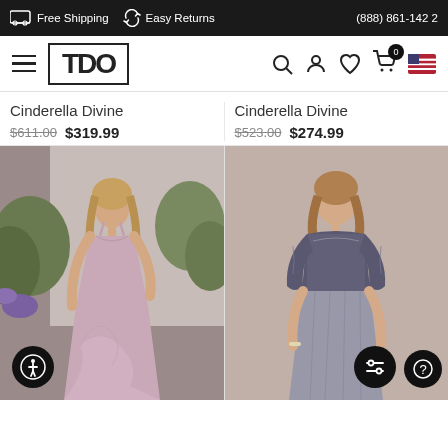Free Shipping  Easy Returns  (888) 861-1422
[Figure (logo): TDO logo in bordered box with hamburger menu on left and nav icons (search, account, wishlist, cart with badge 0, flag) on right]
Cinderella Divine
$611.00  $319.99
Cinderella Divine
$523.00  $274.99
[Figure (photo): Model wearing a long flowing pastel mauve/pink dress with V-neckline spaghetti straps, outdoors with garden/greenery background. Accessibility icon button in bottom-left corner.]
[Figure (photo): Model wearing a long grey/charcoal two-piece style dress with lace/embellished 3/4 sleeve top and chiffon skirt, on neutral tan background. Filter and help icon buttons in bottom corners.]